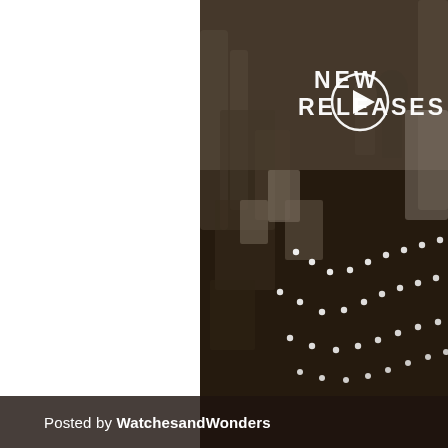[Figure (photo): A blurred, muted-tone photo of an exhibition hall interior with people browsing display stands and columns in the background. White dots form a decorative arc pattern across the floor. Text overlay reads 'NEW RELEASES' with a circular play button icon in white.]
Posted by WatchesandWonders